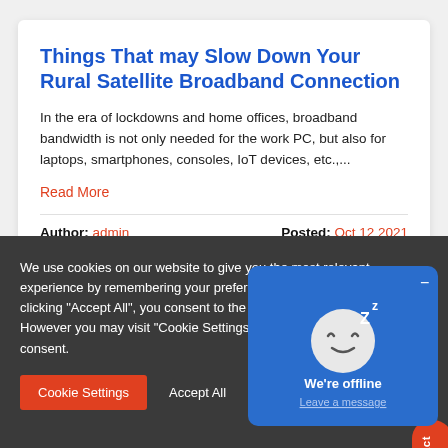Things That may Slow Down Your Rural Satellite Broadband Connection
In the era of lockdowns and home offices, broadband bandwidth is not only needed for the work PC, but also for laptops, smartphones, consoles, IoT devices, etc.,...
Read More
Author: admin    Posted: Oct 12 2021
We use cookies on our website to give you the most relevant experience by remembering your preferences and repeat visits. By clicking "Accept All", you consent to the use of ALL the cookies. However you may visit "Cookie Settings" to provide a controlled consent.
Cookie Settings   Accept All
[Figure (illustration): Chat widget showing sleeping face emoji with 'Z' letters and text 'We're offline / Leave a message' on blue background]